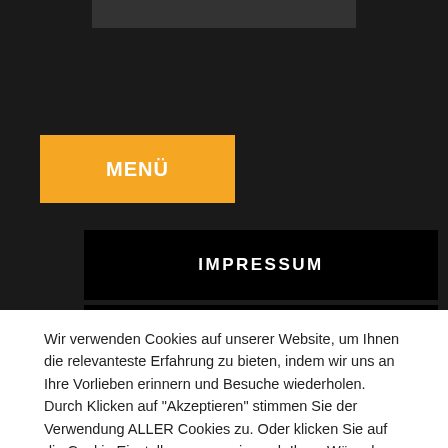MENÜ
IMPRESSUM
WEITERE ONLINE VERGLEICHE
Wir verwenden Cookies auf unserer Website, um Ihnen die relevanteste Erfahrung zu bieten, indem wir uns an Ihre Vorlieben erinnern und Besuche wiederholen. Durch Klicken auf "Akzeptieren" stimmen Sie der Verwendung ALLER Cookies zu. Oder klicken Sie auf die Cookie Einstellungen um sie nach Ihren Wünschen zu änderrn
Cookie Einstellungen
ACCEPT